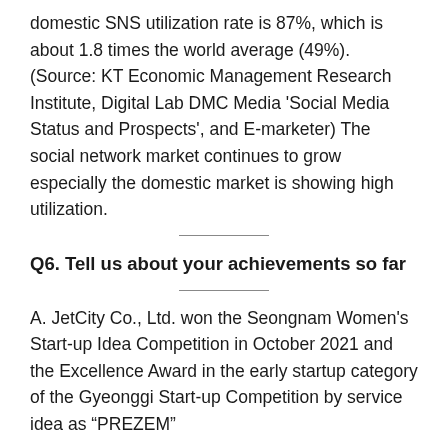domestic SNS utilization rate is 87%, which is about 1.8 times the world average (49%). (Source: KT Economic Management Research Institute, Digital Lab DMC Media 'Social Media Status and Prospects', and E-marketer) The social network market continues to grow especially the domestic market is showing high utilization.
Q6. Tell us about your achievements so far
A. JetCity Co., Ltd. won the Seongnam Women's Start-up Idea Competition in October 2021 and the Excellence Award in the early startup category of the Gyeonggi Start-up Competition by service idea as “PREZEM”
In September 2021, it officially collaborated with the Nine